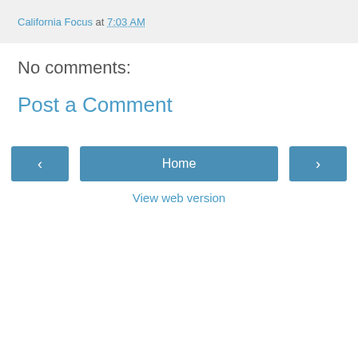California Focus at 7:03 AM
No comments:
Post a Comment
[Figure (other): Navigation bar with left arrow button, Home button, and right arrow button]
View web version